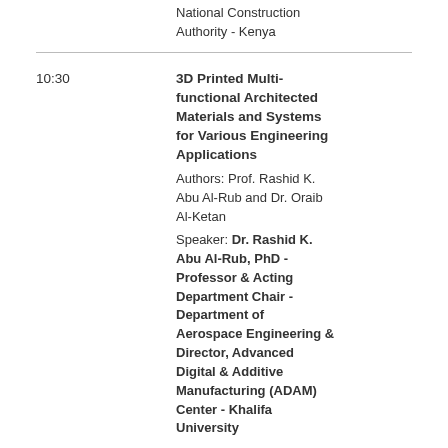National Construction Authority - Kenya
10:30
3D Printed Multi-functional Architected Materials and Systems for Various Engineering Applications
Authors: Prof. Rashid K. Abu Al-Rub and Dr. Oraib Al-Ketan
Speaker: Dr. Rashid K. Abu Al-Rub, PhD - Professor & Acting Department Chair - Department of Aerospace Engineering & Director, Advanced Digital & Additive Manufacturing (ADAM) Center - Khalifa University